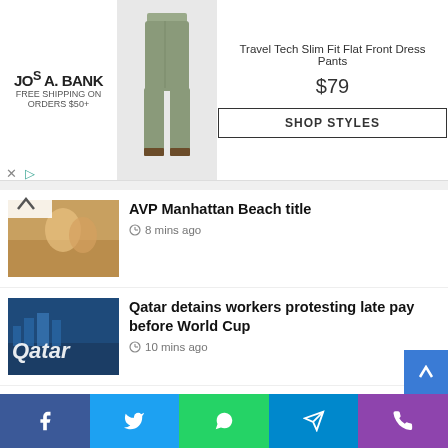[Figure (other): Jos A. Bank advertisement banner: Travel Tech Slim Fit Flat Front Dress Pants, $79, SHOP STYLES button, with image of gray dress pants]
AVP Manhattan Beach title — 8 mins ago
Qatar detains workers protesting late pay before World Cup — 10 mins ago
Cineworld Indicates ‘Possible Voluntary Chapter 11 Filing’ in The US — 10 mins ago
Greatest road tests ever: Rolls-Royce Flying Spur — 12 mins ago
[Figure (other): Social share bar with Facebook, Twitter, WhatsApp, Telegram, and phone icons]